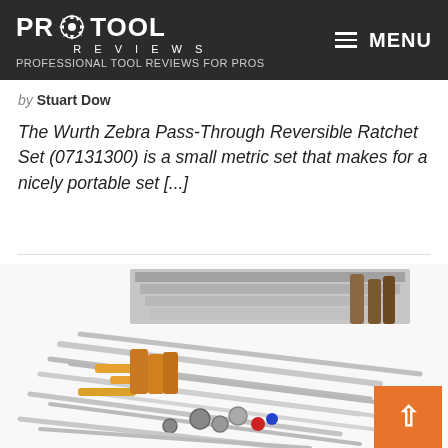PRO TOOL REVIEWS — PROFESSIONAL TOOL REVIEWS FOR PROS | MENU
by Stuart Dow
The Wurth Zebra Pass-Through Reversible Ratchet Set (07131300) is a small metric set that makes for a nicely portable set [...]
[Figure (photo): Large collection of chrome hand tools including wrenches, ratchets, sockets, and screwdrivers spread out on a white background]